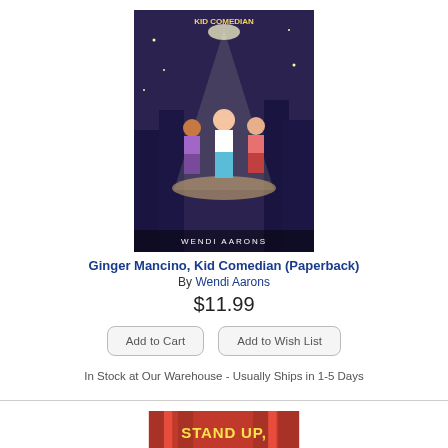[Figure (illustration): Book cover for 'Ginger Mancino, Kid Comedian' showing animated children on a stage under a spotlight, with the author name 'Wendi Aarons' at the bottom. Dark/purple night-time background.]
Ginger Mancino, Kid Comedian (Paperback)
By Wendi Aarons
$11.99
Add to Cart
Add to Wish List
In Stock at Our Warehouse - Usually Ships in 1-5 Days
[Figure (illustration): Book cover for 'Stand Up, Yumi Chung!' showing a young Asian girl with a microphone on a red curtain background, author name 'Jessica Kim' at bottom right.]
Stand Up, Yumi Chung! (Paperback)